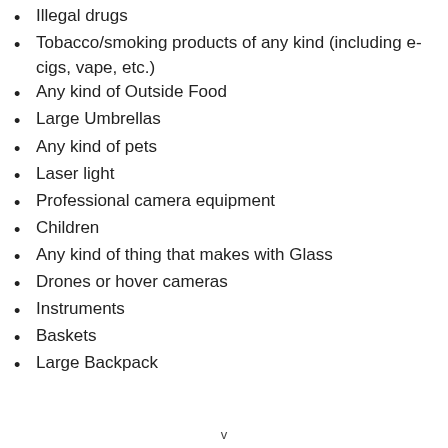Illegal drugs
Tobacco/smoking products of any kind (including e-cigs, vape, etc.)
Any kind of Outside Food
Large Umbrellas
Any kind of pets
Laser light
Professional camera equipment
Children
Any kind of thing that makes with Glass
Drones or hover cameras
Instruments
Baskets
Large Backpack
v